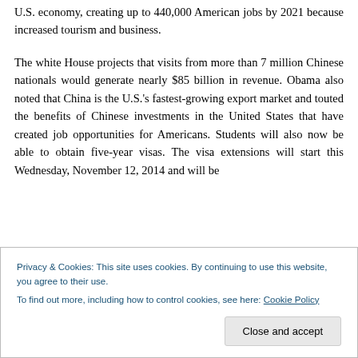U.S. economy, creating up to 440,000 American jobs by 2021 because increased tourism and business.
The white House projects that visits from more than 7 million Chinese nationals would generate nearly $85 billion in revenue. Obama also noted that China is the U.S.'s fastest-growing export market and touted the benefits of Chinese investments in the United States that have created job opportunities for Americans. Students will also now be able to obtain five-year visas. The visa extensions will start this Wednesday, November 12, 2014 and will be
Privacy & Cookies: This site uses cookies. By continuing to use this website, you agree to their use.
To find out more, including how to control cookies, see here: Cookie Policy
Close and accept